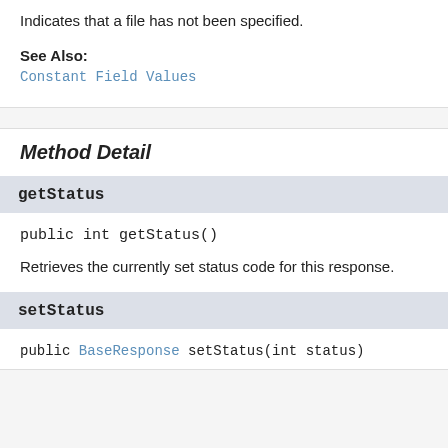Indicates that a file has not been specified.
See Also:
Constant Field Values
Method Detail
getStatus
public int getStatus()
Retrieves the currently set status code for this response.
setStatus
public BaseResponse setStatus(int status)